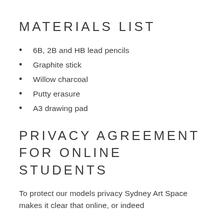MATERIALS LIST
6B, 2B and HB lead pencils
Graphite stick
Willow charcoal
Putty erasure
A3 drawing pad
PRIVACY AGREEMENT FOR ONLINE STUDENTS
To protect our models privacy Sydney Art Space makes it clear that online, or indeed